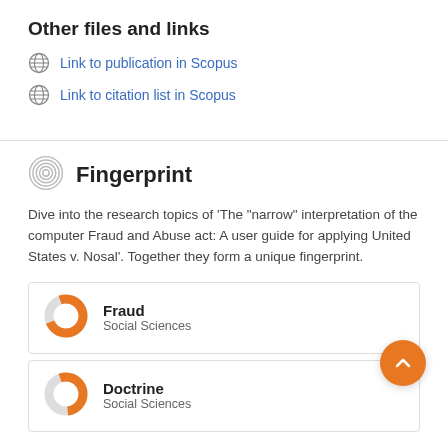Other files and links
Link to publication in Scopus
Link to citation list in Scopus
Fingerprint
Dive into the research topics of 'The "narrow" interpretation of the computer Fraud and Abuse act: A user guide for applying United States v. Nosal'. Together they form a unique fingerprint.
Fraud
Social Sciences
Doctrine
Social Sciences